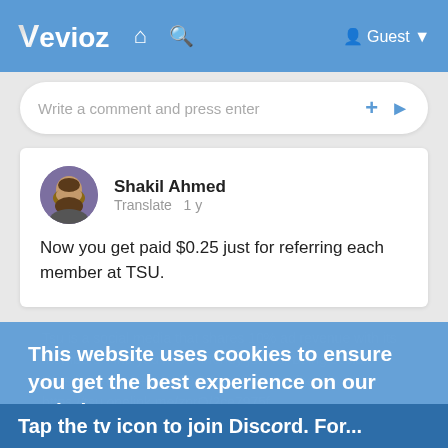Vevioz — navigation bar with logo, home icon, search icon, Guest user
Write a comment and press enter
Shakil Ahmed
Translate  1 y

Now you get paid $0.25 just for referring each member at TSU.

Tsu is a social media that shares 10% ad revenue with its members. And you make money just for being social.
Gets you $0.25 just for referring
https://tsu.onelink.me/znrO/2ce7975f

Additionally, You earn 10% commissions from your referral earnings.
This website uses cookies to ensure you get the best experience on our website.
Learn More
Got It!
Tap the tv icon to join Discord. For...